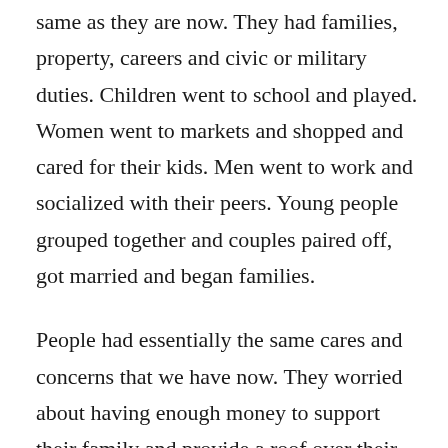same as they are now. They had families, property, careers and civic or military duties. Children went to school and played. Women went to markets and shopped and cared for their kids. Men went to work and socialized with their peers. Young people grouped together and couples paired off, got married and began families.
People had essentially the same cares and concerns that we have now. They worried about having enough money to support their family and provide a roof over their heads and food on the table. There were